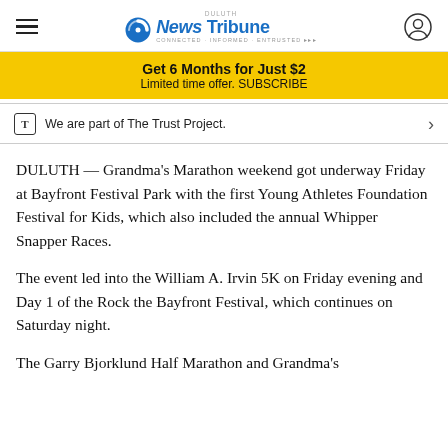Duluth News Tribune
Get 6 Months for Just $2
Limited time offer. SUBSCRIBE
We are part of The Trust Project.
DULUTH — Grandma's Marathon weekend got underway Friday at Bayfront Festival Park with the first Young Athletes Foundation Festival for Kids, which also included the annual Whipper Snapper Races.
The event led into the William A. Irvin 5K on Friday evening and Day 1 of the Rock the Bayfront Festival, which continues on Saturday night.
The Garry Bjorklund Half Marathon and Grandma's